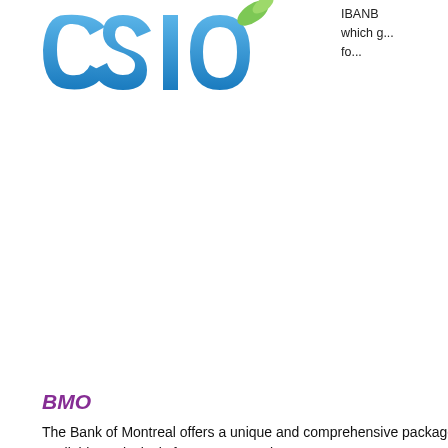[Figure (logo): CSIO logo with blue text and green leaf accent, partially cropped at top]
IBANB which g... fo...
BMO
The Bank of Montreal offers a unique and comprehensive package of services that are available exclusively for IBANB Members.
Colin Clahane | 416.867.4702
BMO
[Figure (logo): BMO logo in bold blue text, partially cropped on right]
[Figure (logo): ClearPay logo with gradient purple/blue arrow icon and dark grey ClearPay wordmark]
Send... y... Clear...